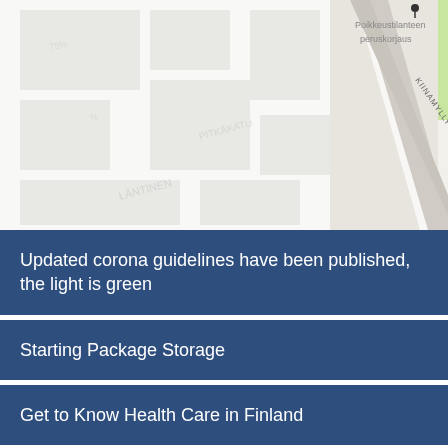[Figure (map): Street map of a Finnish city area showing roads including Kiinamyllynkatu and surrounding blocks with light gray and white coloring. A location pin marker is visible. Finnish text 'Poikkeustilanteen peruskorjaus' visible in upper right area.]
Updated corona guidelines have been published, the light is green
Starting Package Storage
Get to Know Health Care in Finland